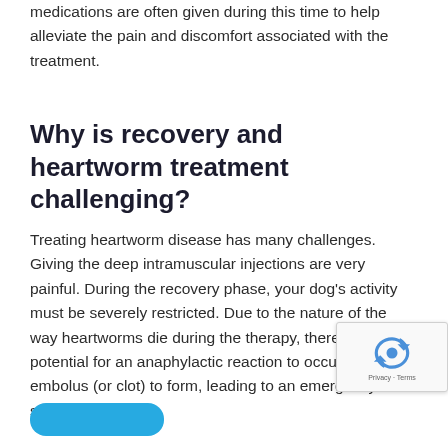medications are often given during this time to help alleviate the pain and discomfort associated with the treatment.
Why is recovery and heartworm treatment challenging?
Treating heartworm disease has many challenges. Giving the deep intramuscular injections are very painful. During the recovery phase, your dog’s activity must be severely restricted. Due to the nature of the way heartworms die during the therapy, there is the potential for an anaphylactic reaction to occur, or for an embolus (or clot) to form, leading to an emergency situation.